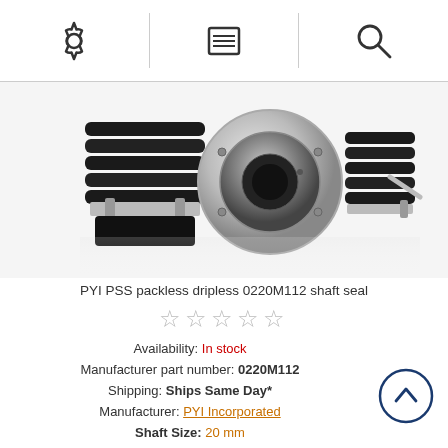Navigation bar with settings, menu, and search icons
[Figure (photo): PYI PSS packless dripless shaft seal product photo showing black rubber bellows with silver metal flanges and clamps]
PYI PSS packless dripless 0220M112 shaft seal
☆☆☆☆☆ (star rating, 0 of 5 stars)
Availability: In stock
Manufacturer part number: 0220M112
Shipping: Ships Same Day*
Manufacturer: PYI Incorporated
Shaft Size: 20 mm